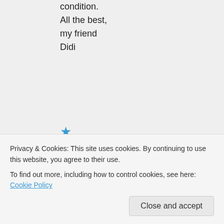condition.
All the best,
my friend
Didi
★ Liked by 1 person
Log in to Reply
ilonapu
lianaus
kaite
Privacy & Cookies: This site uses cookies. By continuing to use this website, you agree to their use.
To find out more, including how to control cookies, see here: Cookie Policy
Close and accept